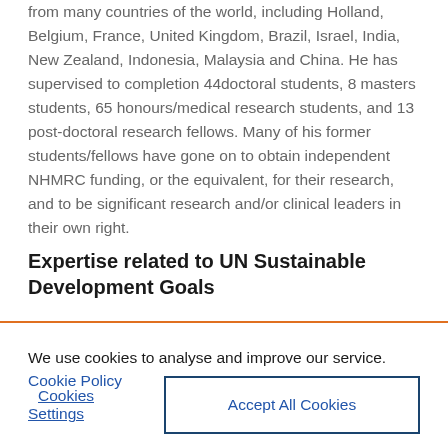from many countries of the world, including Holland, Belgium, France, United Kingdom, Brazil, Israel, India, New Zealand, Indonesia, Malaysia and China. He has supervised to completion 44doctoral students, 8 masters students, 65 honours/medical research students, and 13 post-doctoral research fellows. Many of his former students/fellows have gone on to obtain independent NHMRC funding, or the equivalent, for their research, and to be significant research and/or clinical leaders in their own right.
Expertise related to UN Sustainable Development Goals
We use cookies to analyse and improve our service. Cookie Policy
Cookies Settings
Accept All Cookies